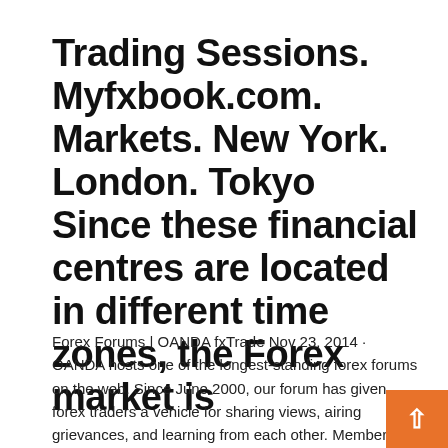Trading Sessions. Myfxbook.com. Markets. New York. London. Tokyo Since these financial centres are located in different time zones, the Forex market is
Forex Forums | OANDA fxTrade Nov 23, 2014 · OANDA hosts one of the longest-standing forex forums on the web. Since June 2000, our forum has given forex traders a vehicle for sharing views, airing grievances, and learning from each other. Membership in the OANDA Forex Forum comes with searchable access to diverse topic threads dating back to the very first forex forum posts. Forex trading hours - Alpari The Forex